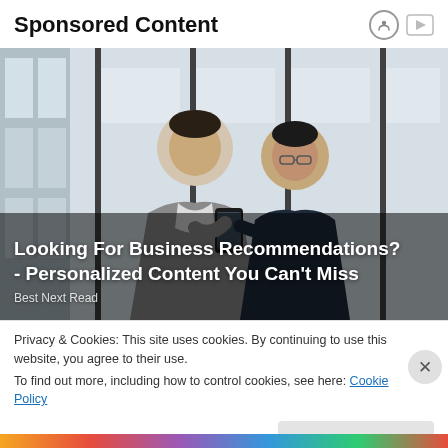Sponsored Content
[Figure (photo): Two businessmen in suits looking at a smartphone together in an office setting with large windows. One man in a grey suit is smiling, the other in a dark suit is looking at the phone. Text overlay reads: 'Looking For Business Recommendations? - Personalized Content You Can't Miss' and 'Best Next Read']
Privacy & Cookies: This site uses cookies. By continuing to use this website, you agree to their use.
To find out more, including how to control cookies, see here: Cookie Policy
Close and accept